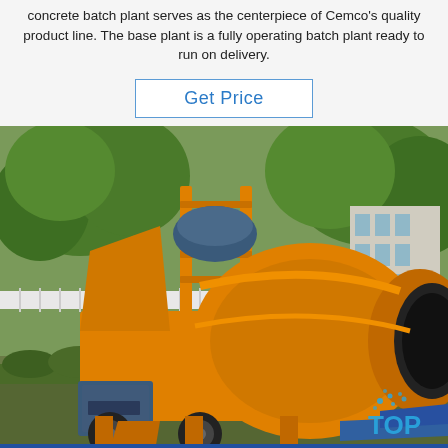concrete batch plant serves as the centerpiece of Cemco's quality product line. The base plant is a fully operating batch plant ready to run on delivery.
[Figure (other): Get Price button with blue border and blue text on white background]
[Figure (photo): Orange concrete batch mixer / cement mixer machine photographed outdoors with green trees and a building in the background. A blue 'TOP' watermark logo appears in the bottom right corner.]